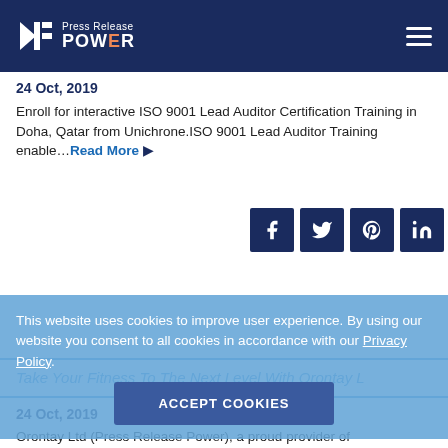Press Release POWER
24 Oct, 2019
Enroll for interactive ISO 9001 Lead Auditor Certification Training in Doha, Qatar from Unichrone.ISO 9001 Lead Auditor Training enable…Read More ▶
[Figure (infographic): Social media share buttons: Facebook, Twitter, Pinterest, LinkedIn]
This website uses cookies to improve user experience. By using our website you consent to all cookies in accordance with our Privacy Policy.
ACCEPT COOKIES
Take Your Fitness To The Next Level With Orontay L
24 Oct, 2019
Orontay Ltd (Press Release Power), a proud provider of